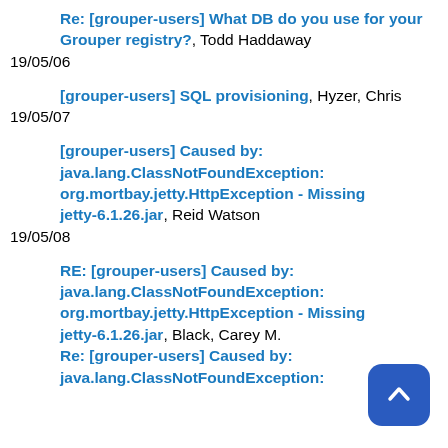Re: [grouper-users] What DB do you use for your Grouper registry?, Todd Haddaway 19/05/06
[grouper-users] SQL provisioning, Hyzer, Chris 19/05/07
[grouper-users] Caused by: java.lang.ClassNotFoundException: org.mortbay.jetty.HttpException - Missing jetty-6.1.26.jar, Reid Watson 19/05/08
RE: [grouper-users] Caused by: java.lang.ClassNotFoundException: org.mortbay.jetty.HttpException - Missing jetty-6.1.26.jar, Black, Carey M.
Re: [grouper-users] Caused by: java.lang.ClassNotFoundException: